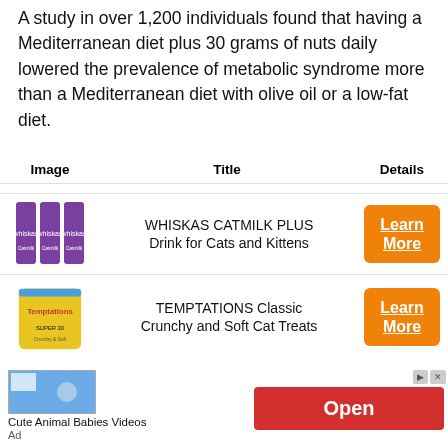A study in over 1,200 individuals found that having a Mediterranean diet plus 30 grams of nuts daily lowered the prevalence of metabolic syndrome more than a Mediterranean diet with olive oil or a low-fat diet.
| Image | Title | Details |
| --- | --- | --- |
| [Whiskas Catmilk Plus image] | WHISKAS CATMILK PLUS Drink for Cats and Kittens | Learn More |
| [Temptations image] | TEMPTATIONS Classic Crunchy and Soft Cat Treats | Learn More |
[Figure (screenshot): Advertisement banner with thumbnail showing animal babies video, Open button, and Ad label]